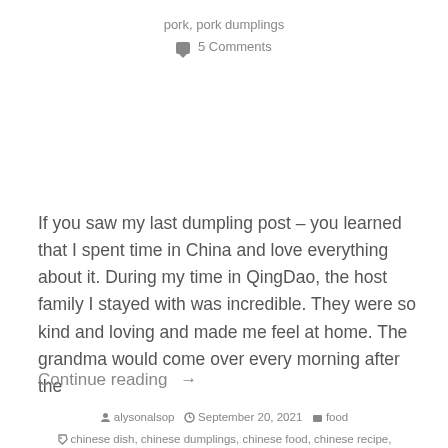pork, pork dumplings
5 Comments
If you saw my last dumpling post – you learned that I spent time in China and love everything about it. During my time in QingDao, the host family I stayed with was incredible. They were so kind and loving and made me feel at home. The grandma would come over every morning after the
Continue reading →
alysonalsop   September 20, 2021   food
chinese dish, chinese dumplings, chinese food, chinese recipe, chinese recipes, dumpling, dumpling recipe, dumpling recipes